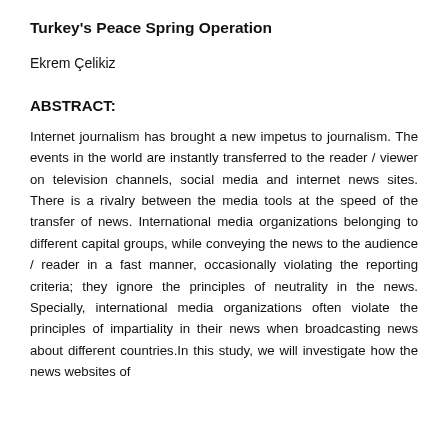Turkey's Peace Spring Operation
Ekrem Çelikiz
ABSTRACT:
Internet journalism has brought a new impetus to journalism. The events in the world are instantly transferred to the reader / viewer on television channels, social media and internet news sites. There is a rivalry between the media tools at the speed of the transfer of news. International media organizations belonging to different capital groups, while conveying the news to the audience / reader in a fast manner, occasionally violating the reporting criteria; they ignore the principles of neutrality in the news. Specially, international media organizations often violate the principles of impartiality in their news when broadcasting news about different countries.In this study, we will investigate how the news websites of